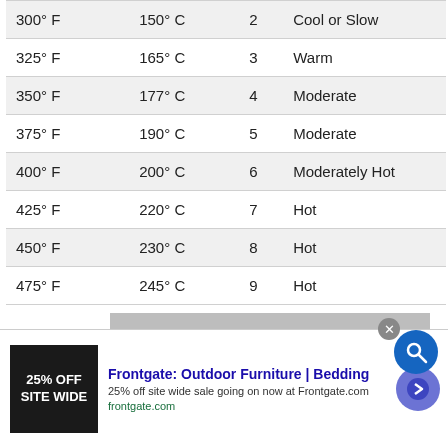| 300° F | 150° C | 2 | Cool or Slow |
| 325° F | 165° C | 3 | Warm |
| 350° F | 177° C | 4 | Moderate |
| 375° F | 190° C | 5 | Moderate |
| 400° F | 200° C | 6 | Moderately Hot |
| 425° F | 220° C | 7 | Hot |
| 450° F | 230° C | 8 | Hot |
| 475° F | 245° C | 9 | Hot |